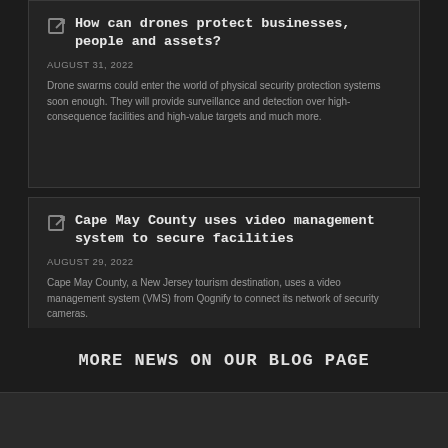How can drones protect businesses, people and assets?
AUGUST 31, 2022
Drone swarms could enter the world of physical security protection systems soon enough. They will provide surveillance and detection over high-consequence facilities and high-value targets and much more.
Cape May County uses video management system to secure facilities
AUGUST 29, 2022
Cape May County, a New Jersey tourism destination, uses a video management system (VMS) from Qognify to connect its network of security cameras.
MORE NEWS ON OUR BLOG PAGE